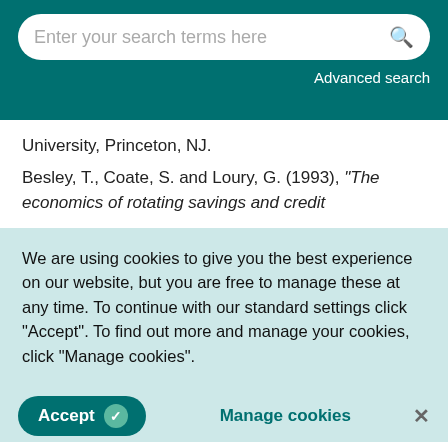Enter your search terms here | Advanced search
University, Princeton, NJ.
Besley, T., Coate, S. and Loury, G. (1993), "The economics of rotating savings and credit
We are using cookies to give you the best experience on our website, but you are free to manage these at any time. To continue with our standard settings click "Accept". To find out more and manage your cookies, click "Manage cookies".
Accept | Manage cookies | ×
Borter-Doku, E. and Aryeetey, E. (1995), Mobilizing cash for business: women in rotating Susu clubs in